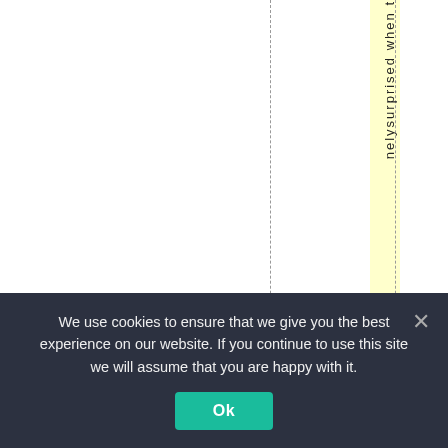[Figure (other): Page layout with dashed vertical lines, a yellow highlighted column, and vertical text reading 'nelysurprised when t' (partial word visible, rotated 90 degrees)]
We use cookies to ensure that we give you the best experience on our website. If you continue to use this site we will assume that you are happy with it.
Ok